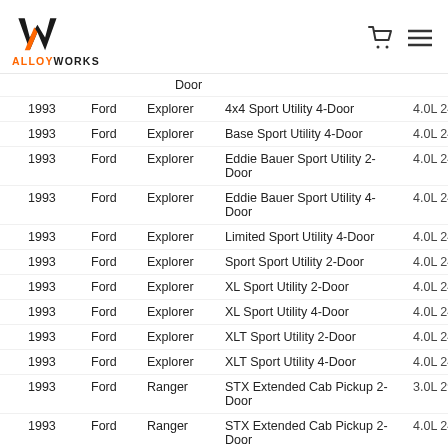ALLOYWORKS
| Year | Make | Model | Trim | Engine |
| --- | --- | --- | --- | --- |
| 1993 | Ford | Explorer | 4x4 Sport Utility 4-Door | 4.0L 245Cu. |
| 1993 | Ford | Explorer | Base Sport Utility 4-Door | 4.0L 245Cu. |
| 1993 | Ford | Explorer | Eddie Bauer Sport Utility 2-Door | 4.0L 245Cu. |
| 1993 | Ford | Explorer | Eddie Bauer Sport Utility 4-Door | 4.0L 245Cu. |
| 1993 | Ford | Explorer | Limited Sport Utility 4-Door | 4.0L 245Cu. |
| 1993 | Ford | Explorer | Sport Sport Utility 2-Door | 4.0L 245Cu. |
| 1993 | Ford | Explorer | XL Sport Utility 2-Door | 4.0L 245Cu. |
| 1993 | Ford | Explorer | XL Sport Utility 4-Door | 4.0L 245Cu. |
| 1993 | Ford | Explorer | XLT Sport Utility 2-Door | 4.0L 245Cu. |
| 1993 | Ford | Explorer | XLT Sport Utility 4-Door | 4.0L 245Cu. |
| 1993 | Ford | Ranger | STX Extended Cab Pickup 2-Door | 3.0L 2986CC |
| 1993 | Ford | Ranger | STX Extended Cab Pickup 2-Door | 4.0L 245Cu. |
| 1993 | Ford | Ranger | STX Standard Cab Pickup 2-Door | 3.0L 2986CC |
| 1993 | Ford | Ranger | STX Standard Cab Pickup 2-Door | 4.0L 245Cu. |